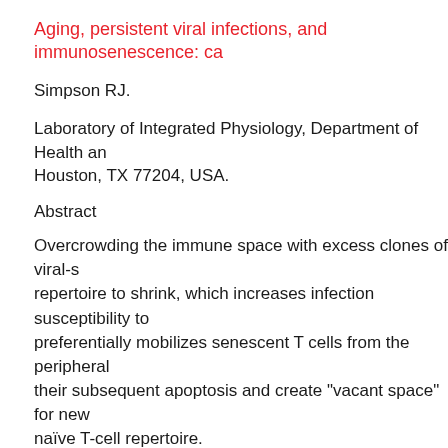Aging, persistent viral infections, and immunosenescence: ca
Simpson RJ.
Laboratory of Integrated Physiology, Department of Health an Houston, TX 77204, USA.
Abstract
Overcrowding the immune space with excess clones of viral-s repertoire to shrink, which increases infection susceptibility to preferentially mobilizes senescent T cells from the peripheral their subsequent apoptosis and create "vacant space" for new naïve T-cell repertoire.
Exerc Immunol Rev. 2010;16:40-55.
Senescent phenotypes and telomere lengths of peripheral blo humans.
Simpson RJ, Cosgrove C, Chee MM, McFarlin BK, Bartlett DB Shiels PG.
Laboratory of Integrated Physiology, Department of Health an